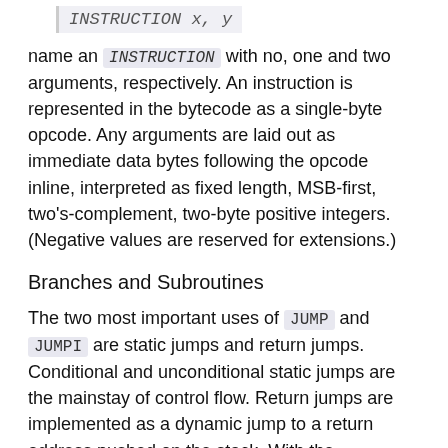INSTRUCTION x, y
name an INSTRUCTION with no, one and two arguments, respectively. An instruction is represented in the bytecode as a single-byte opcode. Any arguments are laid out as immediate data bytes following the opcode inline, interpreted as fixed length, MSB-first, two's-complement, two-byte positive integers. (Negative values are reserved for extensions.)
Branches and Subroutines
The two most important uses of JUMP and JUMPI are static jumps and return jumps. Conditional and unconditional static jumps are the mainstay of control flow. Return jumps are implemented as a dynamic jump to a return address pushed on the stack. With the combination of a static jump and a dynamic return jump you can—and Solidity does—implement subroutines. The problem is that static analysis cannot tell the one place the return jump is